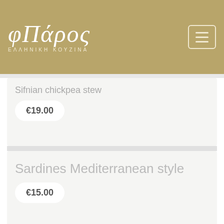φΠάρος - ΕΛΛΗΝΙΚΗ ΚΟΥΖΙΝΑ
Sifnian chickpea stew
€19.00
Sardines Mediterranean style
€15.00
Local cheese plate with kumquat marmalade